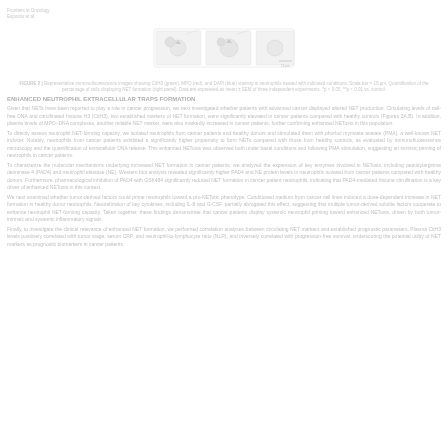Frontiers in Oncology
Esposito et al.
[Figure (illustration): Grayscale scientific illustration showing a molecular or cellular diagram with small structures and annotations, centered on the page.]
FIGURE 2 | Caption text describing the figure contents with reference to molecular markers and experimental conditions shown in the image panels above.
ENHANCED NEUTROPHIL EXTRACELLULAR TRAPS FORMATION
Lorem ipsum dolor sit amet, consectetur adipiscing elit, sed do eiusmod tempor incididunt ut labore et dolore magna aliqua. Ut enim ad minim veniam, quis nostrud exercitation ullamco laboris nisi ut aliquip ex ea commodo consequat. Duis aute irure dolor in reprehenderit in voluptate velit esse cillum dolore eu fugiat nulla pariatur.
Excepteur sint occaecat cupidatat non proident, sunt in culpa qui officia deserunt mollit anim id est laborum. Sed ut perspiciatis unde omnis iste natus error sit voluptatem accusantium doloremque laudantium, totam rem aperiam, eaque ipsa quae ab illo inventore veritatis et quasi architecto beatae vitae dicta sunt explicabo.
Nemo enim ipsam voluptatem quia voluptas sit aspernatur aut odit aut fugit, sed quia consequuntur magni dolores eos qui ratione voluptatem sequi nesciunt. Neque porro quisquam est, qui dolorem ipsum quia dolor sit amet, consectetur, adipisci velit, sed quia non numquam eius modi tempora incidunt ut labore.
Et dolore magnam aliquam quaerat voluptatem. Ut enim ad minima veniam, quis nostrum exercitationem ullam corporis suscipit laboriosam, nisi ut aliquid ex ea commodi consequatur? Quis autem vel eum iure reprehenderit qui in ea voluptate velit esse quam nihil molestiae consequatur, vel illum qui dolorem eum fugiat quo voluptas nulla pariatur?
At vero eos et accusamus et iusto odio dignissimos ducimus qui blanditiis praesentium voluptatum deleniti atque corrupti quos dolores et quas molestias excepturi sint occaecati cupiditate non provident, similique sunt in culpa qui officia deserunt mollitia animi, id est laborum et dolorum fuga.
Et harum quidem rerum facilis est et expedita distinctio. Nam libero tempore, cum soluta nobis est eligendi optio cumque nihil impedit quo minus id quod maxime placeat facere possimus, omnis voluptas assumenda est, omnis dolor repellendus.